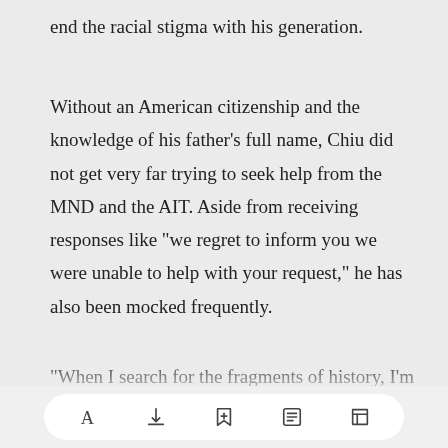end the racial stigma with his generation.
Without an American citizenship and the knowledge of his father's full name, Chiu did not get very far trying to seek help from the MND and the AIT. Aside from receiving responses like "we regret to inform you we were unable to help with your request," he has also been mocked frequently.
"When I search for the fragments of history, I'm not looking for any rewards. I only want